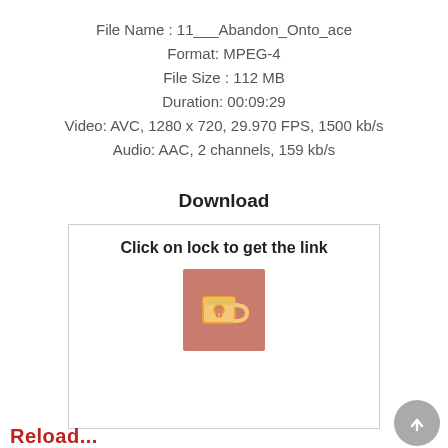File Name : 11___Abandon_Onto_ace
Format: MPEG-4
File Size : 112 MB
Duration: 00:09:29
Video: AVC, 1280 x 720, 29.970 FPS, 1500 kb/s
Audio: AAC, 2 channels, 159 kb/s
Download
[Figure (screenshot): A box with text 'Click on lock to get the link' and a lock/mug icon on a pink-brown background square]
Reload...